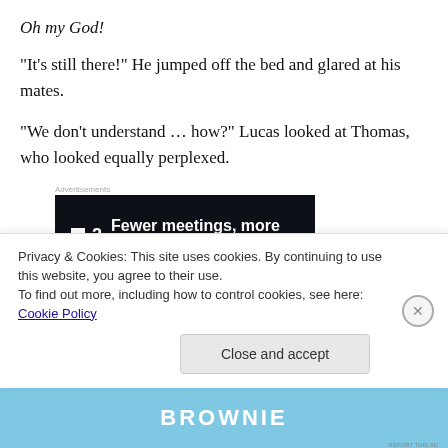Oh my God!
“It’s still there!” He jumped off the bed and glared at his mates.
“We don’t understand … how?” Lucas looked at Thomas, who looked equally perplexed.
[Figure (screenshot): Advertisement banner: F2 logo with text 'Fewer meetings, more work.' on dark background]
Anger, pure and unforgiving, poured through Piers. How
Privacy & Cookies: This site uses cookies. By continuing to use this website, you agree to their use.
To find out more, including how to control cookies, see here: Cookie Policy
[Figure (screenshot): Bottom advertisement banner with blue background and text 'BROWNIE']